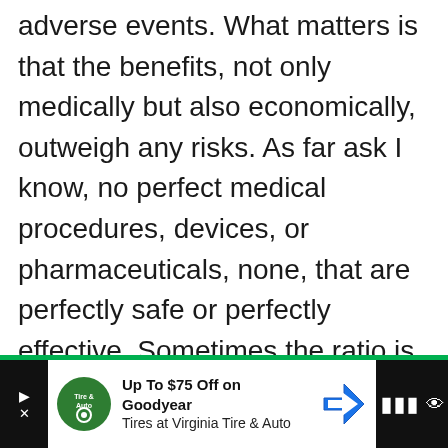adverse events. What matters is that the benefits, not only medically but also economically, outweigh any risks. As far ask I know, no perfect medical procedures, devices, or pharmaceuticals, none, that are perfectly safe or perfectly effective. Sometimes the ratio is small.

For example, there are chemotherapy drugs that only add a few months to a patient's life, usually with substantial
[Figure (screenshot): Advertisement banner at the bottom: 'Up To $75 Off on Goodyear Tires at Virginia Tire & Auto' with Tire & Auto logo and navigation arrow icon, on dark/black background with social media icons.]